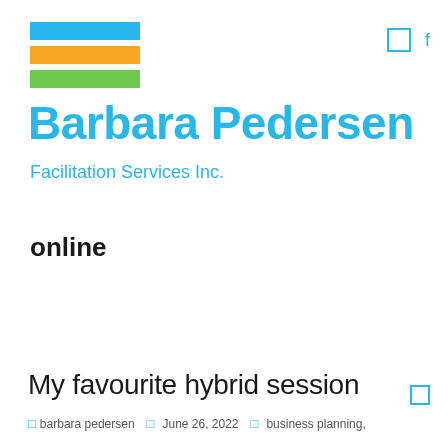[Figure (logo): Three horizontal colored bars stacked: blue on top, orange in middle, green on bottom, forming a logo mark for Barbara Pedersen Facilitation Services Inc.]
Barbara Pedersen
Facilitation Services Inc.
online
My favourite hybrid session
barbara pedersen · June 26, 2022 · business planning,